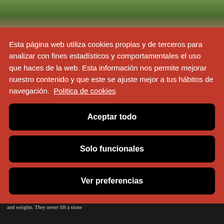[Figure (photo): Top strip showing feet/legs of a person standing on grass, viewed from above]
Esta página web utiliza cookies propias y de terceros para analizar con fines estadísticos y comportamentales el uso que haces de la web. Esta información nos permite mejorar nuestro contenido y que este se ajuste mejor a tus hábitos de navegación.  Politica de cookies
Aceptar todo
Solo funcionales
Ver preferencias
Harrijasotza­les ('stone-lifters' in Euskera) come face to face to lift stones of different shapes, sizes and weights. They never lift a stone